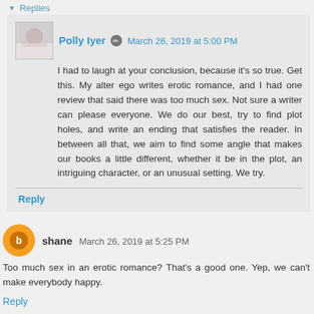Replies
Polly Iyer  March 26, 2019 at 5:00 PM
I had to laugh at your conclusion, because it's so true. Get this. My alter ego writes erotic romance, and I had one review that said there was too much sex. Not sure a writer can please everyone. We do our best, try to find plot holes, and write an ending that satisfies the reader. In between all that, we aim to find some angle that makes our books a little different, whether it be in the plot, an intriguing character, or an unusual setting. We try.
Reply
shane  March 26, 2019 at 5:25 PM
Too much sex in an erotic romance? That's a good one. Yep, we can't make everybody happy.
Reply